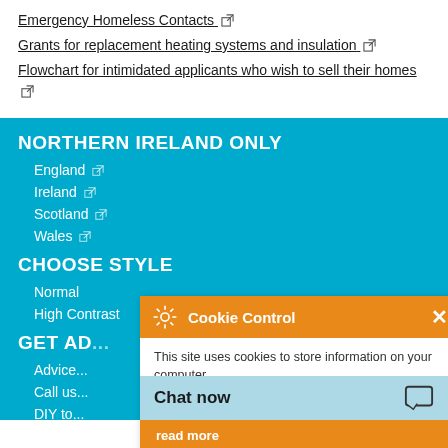Emergency Homeless Contacts [external link]
Grants for replacement heating systems and insulation [external link]
Flowchart for intimidated applicants who wish to sell their homes [external link]
NORTHERN IRELAND ONLY
England [external link]
Ireland [external link]
Scotland [external link]
Wales [external link]
CHOOSE STYLE
Normal
High Contrast
GET AD...
Advice...
Call us...
DIY to...
Jargon...
Videos...
[Figure (screenshot): Cookie Control popup with orange header showing gear icon and 'Cookie Control' title with X close button. Body text says 'This site uses cookies to store information on your computer.' with 'About this tool' link and orange 'read more' button.]
Chat now